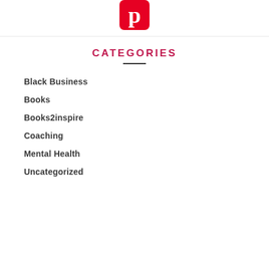[Figure (logo): Pinterest logo — white 'p' on a red rounded square background]
CATEGORIES
Black Business
Books
Books2inspire
Coaching
Mental Health
Uncategorized